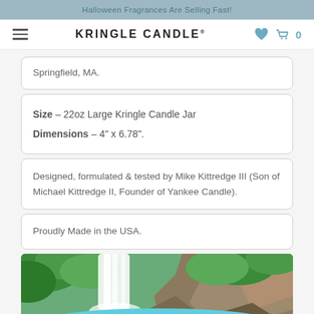Halloween Fragrances Are Selling Fast!
Springfield, MA.
Size – 22oz Large Kringle Candle Jar
Dimensions – 4" x 6.78".
Designed, formulated & tested by Mike Kittredge III (Son of Michael Kittredge II, Founder of Yankee Candle).
Proudly Made in the USA.
[Figure (photo): Nature scene with a waterfall flowing into a turquoise pool, surrounded by lush green vegetation and rocky terrain.]